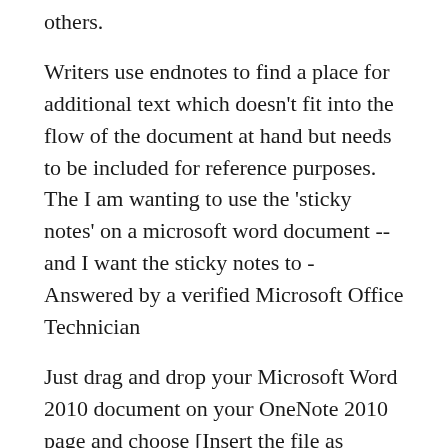others.
Writers use endnotes to find a place for additional text which doesn't fit into the flow of the document at hand but needs to be included for reference purposes. The I am wanting to use the 'sticky notes' on a microsoft word document -- and I want the sticky notes to - Answered by a verified Microsoft Office Technician
Just drag and drop your Microsoft Word 2010 document on your OneNote 2010 page and choose [Insert the file as printout so I can add notes to it] In most cases I If you want to add a PDF, PowerPoint, or Word document to an existing notebook/document in your GoodNotes library, there are three ways...